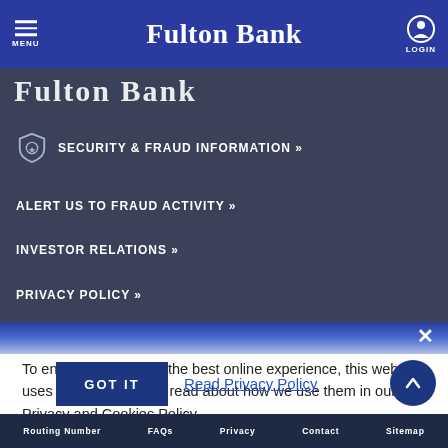Fulton Bank
SECURITY & FRAUD INFORMATION »
ALERT US TO FRAUD ACTIVITY »
INVESTOR RELATIONS »
PRIVACY POLICY »
To ensure you receive the best online experience, this website uses cookies. You can read about how we use them in our Privacy and Cookies Policy.
GOT IT
Read Privacy Policy
Routing Number   FAQs   Privacy   Contact   Sitemap